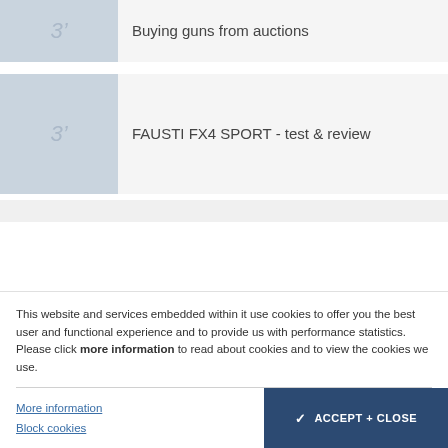Buying guns from auctions
FAUSTI FX4 SPORT - test & review
This website and services embedded within it use cookies to offer you the best user and functional experience and to provide us with performance statistics. Please click more information to read about cookies and to view the cookies we use.
More information
Block cookies
ACCEPT + CLOSE